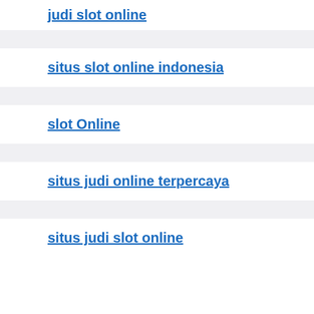judi slot online
situs slot online indonesia
slot Online
situs judi online terpercaya
situs judi slot online